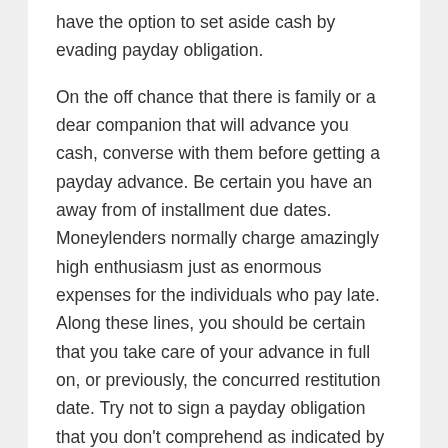have the option to set aside cash by evading payday obligation.
On the off chance that there is family or a dear companion that will advance you cash, converse with them before getting a payday advance. Be certain you have an away from of installment due dates. Moneylenders normally charge amazingly high enthusiasm just as enormous expenses for the individuals who pay late. Along these lines, you should be certain that you take care of your advance in full on, or previously, the concurred restitution date. Try not to sign a payday obligation that you don't comprehend as indicated by your agreement. On the off chance that an organization doesn't give you this data, they may not be real. The advance and loan business makes beans of dollars a year. They